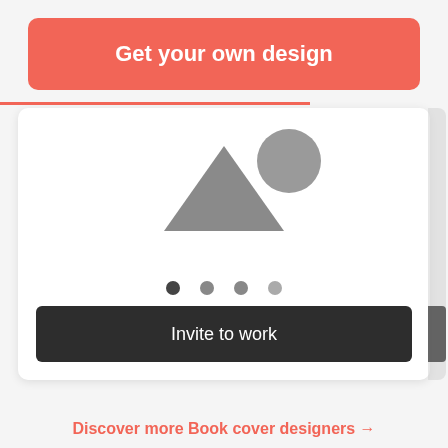Get your own design
[Figure (illustration): A card UI showing placeholder shapes (triangle and circle) representing a book cover designer profile, with four navigation dots and an 'Invite to work' button]
Invite to work
Discover more Book cover designers →